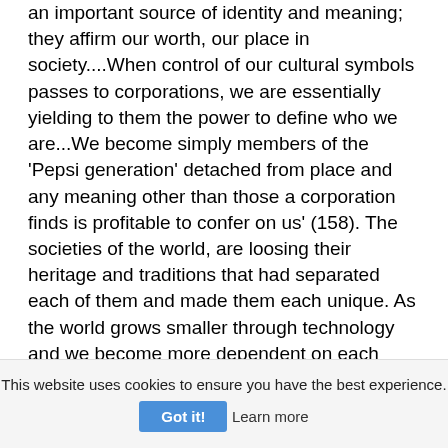an important source of identity and meaning; they affirm our worth, our place in society....When control of our cultural symbols passes to corporations, we are essentially yielding to them the power to define who we are...We become simply members of the 'Pepsi generation' detached from place and any meaning other than those a corporation finds is profitable to confer on us' (158). The societies of the world, are loosing their heritage and traditions that had separated each of them and made them each unique. As the world grows smaller through technology and we become more dependent on each other many of these important traditions that united a community are being lost and forgotten. The corporations are looking to just make a profit.There are many other problems that are being caused by multinational corporations that are being over looked because they can not be measured by monetary
This website uses cookies to ensure you have the best experience.
Got it!   Learn more